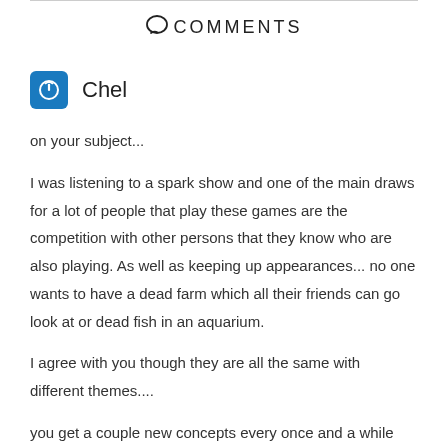COMMENTS
Chel
on your subject...
I was listening to a spark show and one of the main draws for a lot of people that play these games are the competition with other persons that they know who are also playing. As well as keeping up appearances... no one wants to have a dead farm which all their friends can go look at or dead fish in an aquarium.

I agree with you though they are all the same with different themes....
you get a couple new concepts every once and a while but...